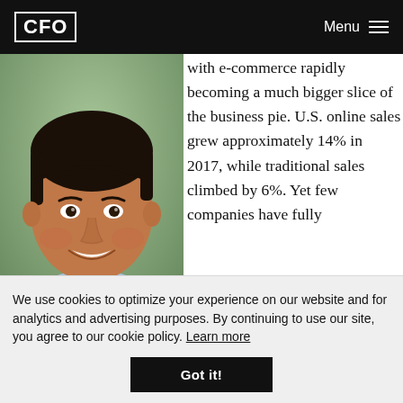CFO | Menu
[Figure (photo): Headshot of a smiling man in a light blue shirt, with short dark hair, outdoors with blurred background.]
with e-commerce rapidly becoming a much bigger slice of the business pie. U.S. online sales grew approximately 14% in 2017, while traditional sales climbed by 6%. Yet few companies have fully
We use cookies to optimize your experience on our website and for analytics and advertising purposes. By continuing to use our site, you agree to our cookie policy. Learn more
Got it!